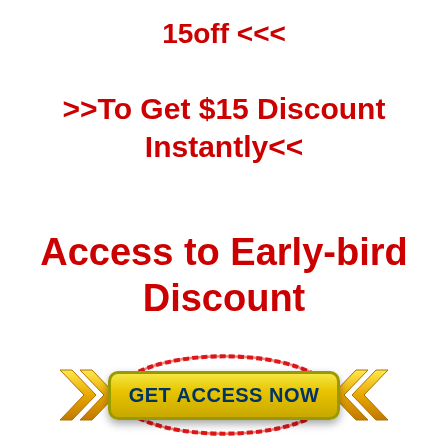15off <<<
>>To Get $15 Discount Instantly<<
Access to Early-bird Discount
[Figure (other): Gold chevron arrows pointing right and left flanking a yellow gradient button labeled GET ACCESS NOW with a red oval ellipse drawn around the button]